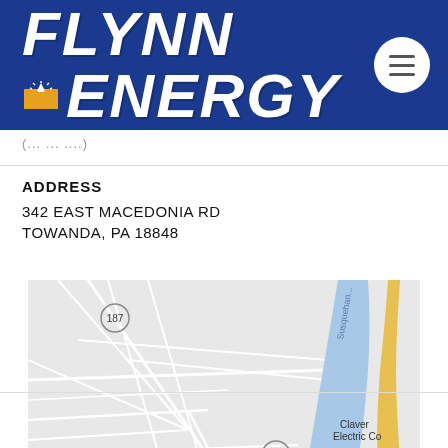[Figure (logo): Flynn Energy logo with blue background, white bold italic text 'FLYNN ENERGY' with a sunrise/sunburst icon, and a circular menu button on the right]
342 EAST MACEDONIA RD TOWANDA, PA 18848
[Figure (map): Google Maps screenshot showing road map of Towanda PA area with route 187, Susquehanna river in blue, yellow highway, and label 'Claver Electric Co']